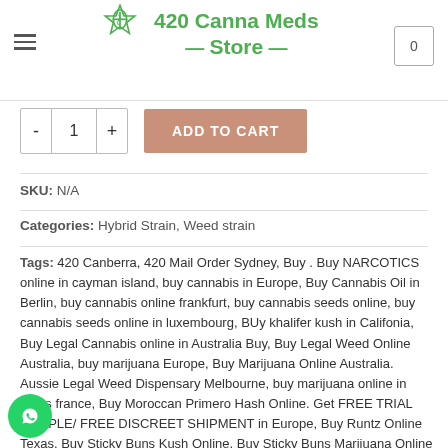420 Canna Meds Store
ADD TO CART  - 1 +
SKU: N/A
Categories: Hybrid Strain, Weed strain
Tags: 420 Canberra, 420 Mail Order Sydney, Buy . Buy NARCOTICS online in cayman island, buy cannabis in Europe, Buy Cannabis Oil in Berlin, buy cannabis online frankfurt, buy cannabis seeds online, buy cannabis seeds online in luxembourg, BUy khalifer kush in Califonia, Buy Legal Cannabis online in Australia Buy, Buy Legal Weed Online Australia, buy marijuana Europe, Buy Marijuana Online Australia. Aussie Legal Weed Dispensary Melbourne, buy marijuana online in reims france, Buy Moroccan Primero Hash Online. Get FREE TRIAL SAMPLE/ FREE DISCREET SHIPMENT in Europe, Buy Runtz Online Texas, Buy Sticky Buns Kush Online, Buy Sticky Buns Marijuana Online in Canada, BUY top grade marijuana Southamptononline in, Buy weed online Reims, Hamburg, Order THC Edibles online Germany, Order valve pens online